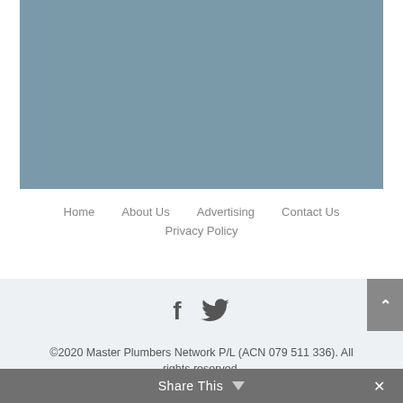[Figure (other): Grey-blue rectangular image placeholder block]
Home   About Us   Advertising   Contact Us   Privacy Policy
[Figure (other): Social media icons: Facebook (f) and Twitter (bird)]
©2020 Master Plumbers Network P/L (ACN 079 511 336). All rights reserved.
Share This ∨   ×